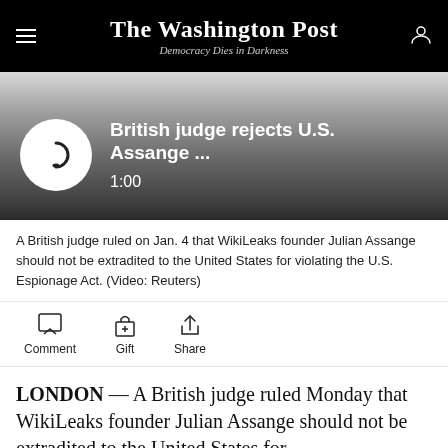The Washington Post
Democracy Dies in Darkness
[Figure (other): Audio/video player showing 'British judge rejects U.S. Assange ...' with play button icon and duration 1:00]
A British judge ruled on Jan. 4 that WikiLeaks founder Julian Assange should not be extradited to the United States for violating the U.S. Espionage Act. (Video: Reuters)
Comment
Gift
Share
LONDON — A British judge ruled Monday that WikiLeaks founder Julian Assange should not be extradited to the United States for violating the Espionage Act, because he is at extreme...